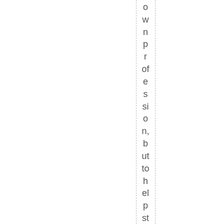ownprofession, but to help students pla